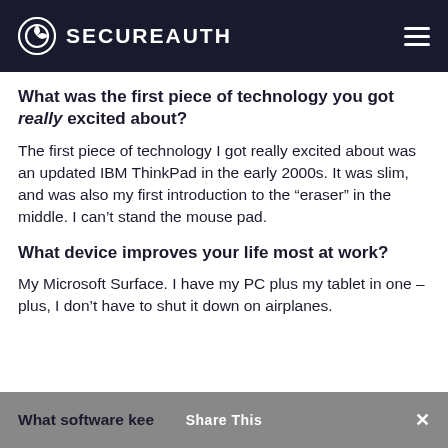SECUREAUTH
What was the first piece of technology you got really excited about?
The first piece of technology I got really excited about was an updated IBM ThinkPad in the early 2000s. It was slim, and was also my first introduction to the „eraser“ in the middle. I can’t stand the mouse pad.
What device improves your life most at work?
My Microsoft Surface. I have my PC plus my tablet in one – plus, I don’t have to shut it down on airplanes.
What software keeps you most productive at work?  Share This  ×